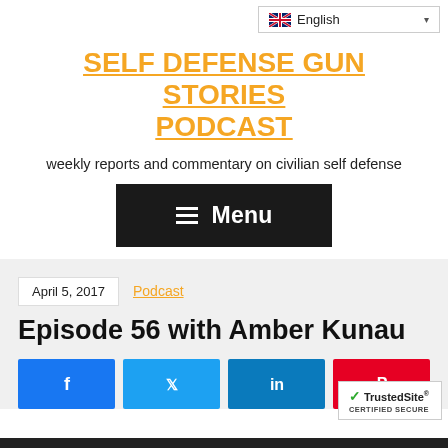English (language selector)
SELF DEFENSE GUN STORIES PODCAST
weekly reports and commentary on civilian self defense
[Figure (other): Dark Menu button with hamburger icon and text 'Menu']
April 5, 2017
Podcast
Episode 56 with Amber Kunau
[Figure (other): Social share buttons: Facebook, Twitter, LinkedIn, Pinterest]
[Figure (logo): TrustedSite Certified Secure badge]